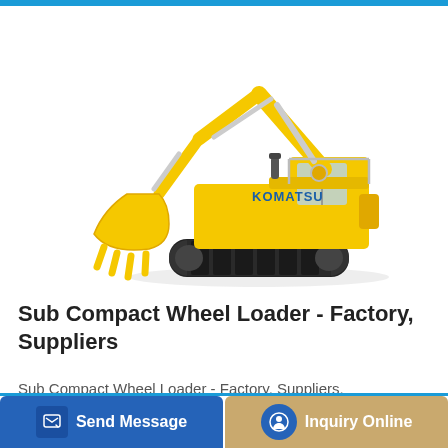[Figure (photo): Yellow Komatsu tracked excavator shown on white background, side view with arm extended and bucket lowered]
Sub Compact Wheel Loader - Factory, Suppliers
Sub Compact Wheel Loader - Factory, Suppliers, Manufacturers from China. We have been proud from the on an
[Figure (other): Send Message button (blue) and Inquiry Online button (tan/gold) at the bottom of the page]